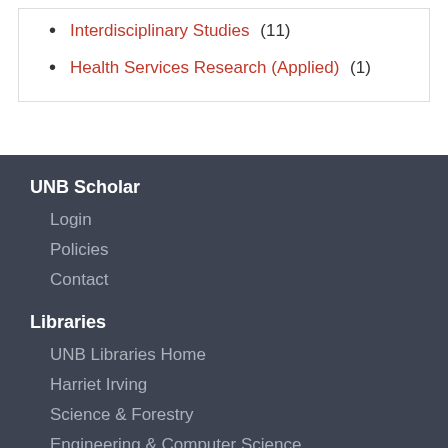Interdisciplinary Studies (11)
Health Services Research (Applied) (1)
UNB Scholar
Login
Policies
Contact
Libraries
UNB Libraries Home
Harriet Irving
Science & Forestry
Engineering & Computer Science